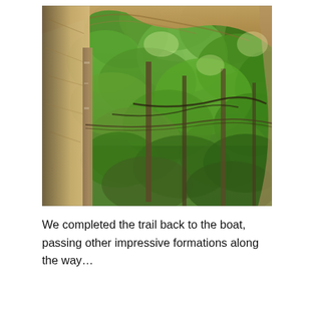[Figure (photo): A photograph taken from inside a sandstone rock overhang or natural arch, looking outward through the opening into a lush green forest. Tall trees with dense green foliage fill the background. The rocky sandstone walls frame the left and top of the image. A rope or cable appears strung between trees at mid-frame. The scene is brightly lit with dappled sunlight.]
We completed the trail back to the boat, passing other impressive formations along the way…